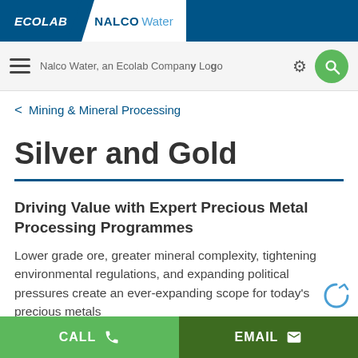ECOLAB  NALCO Water
Nalco Water, an Ecolab Company Logo [navigation]
< Mining & Mineral Processing
Silver and Gold
Driving Value with Expert Precious Metal Processing Programmes
Lower grade ore, greater mineral complexity, tightening environmental regulations, and expanding political pressures create an ever-expanding scope for today's precious metals
CALL   EMAIL